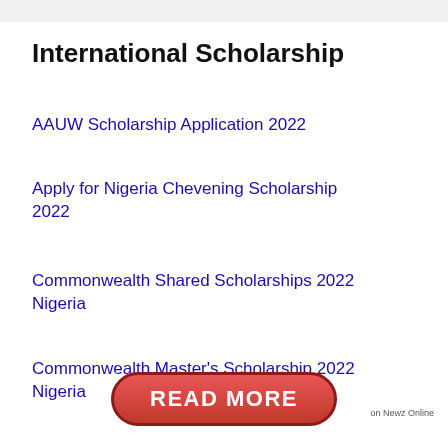International Scholarship
AAUW Scholarship Application 2022
Apply for Nigeria Chevening Scholarship 2022
Commonwealth Shared Scholarships 2022 Nigeria
Commonwealth Master's Scholarship 2022 Nigeria
[Figure (other): Red pill-shaped READ MORE button]
on Newz Online